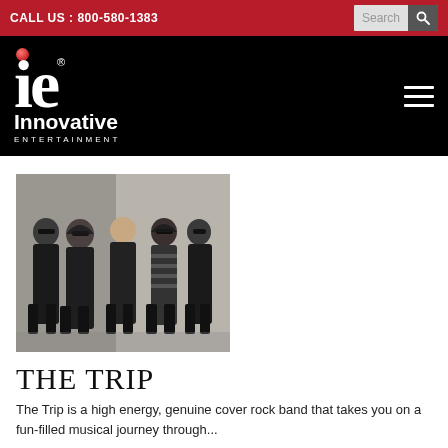CALL US : 800-580-1383
[Figure (logo): Innovative Entertainment logo — stylized 'ie' letters with red dot above, 'Innovative' text and 'ENTERTAINMENT' subtitle, white on black background]
[Figure (photo): Black and white photo of five band members standing together outdoors against a stone wall, all wearing dark clothing]
THE TRIP
The Trip is a high energy, genuine cover rock band that takes you on a fun-filled musical journey through...